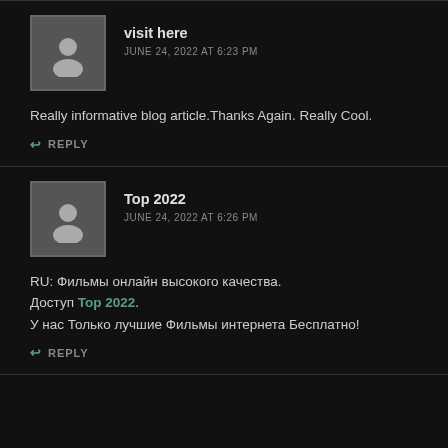visit here
JUNE 24, 2022 AT 6:23 PM
Really informative blog article.Thanks Again. Really Cool.
REPLY
Top 2022
JUNE 24, 2022 AT 6:26 PM
RU: Фильмы онлайн высокого качества.
Доступ Top 2022.
У нас Только лучшие Фильмы интернета Бесплатно!
REPLY